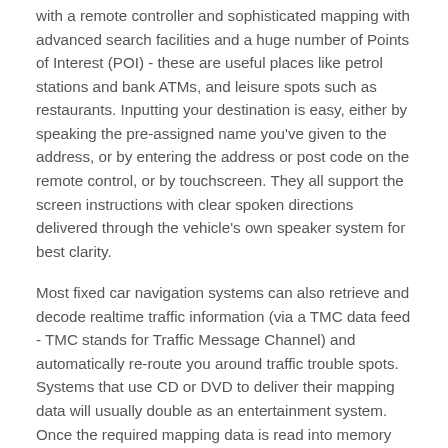with a remote controller and sophisticated mapping with advanced search facilities and a huge number of Points of Interest (POI) - these are useful places like petrol stations and bank ATMs, and leisure spots such as restaurants. Inputting your destination is easy, either by speaking the pre-assigned name you've given to the address, or by entering the address or post code on the remote control, or by touchscreen. They all support the screen instructions with clear spoken directions delivered through the vehicle's own speaker system for best clarity.
Most fixed car navigation systems can also retrieve and decode realtime traffic information (via a TMC data feed - TMC stands for Traffic Message Channel) and automatically re-route you around traffic trouble spots. Systems that use CD or DVD to deliver their mapping data will usually double as an entertainment system. Once the required mapping data is read into memory for a particular route or area, the reader is free to play other discs.